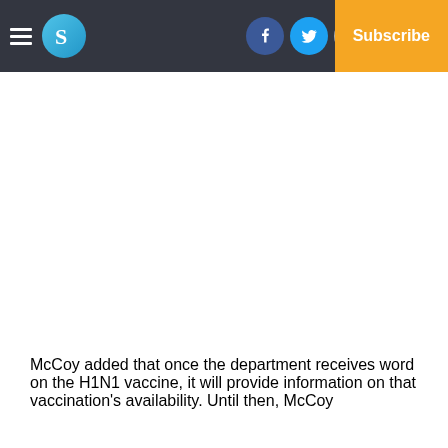S [logo] | Facebook | Twitter | Email | Log In | Subscribe
McCoy added that once the department receives word on the H1N1 vaccine, it will provide information on that vaccination's availability. Until then, McCoy